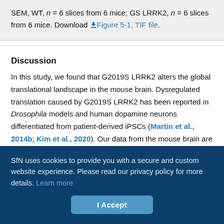SEM, WT, n = 6 slices from 6 mice; GS LRRK2, n = 6 slices from 6 mice. Download Figure 5-1, TIF file.
Discussion
In this study, we found that G2019S LRRK2 alters the global translational landscape in the mouse brain. Dysregulated translation caused by G2019S LRRK2 has been reported in Drosophila models and human dopamine neurons differentiated from patient-derived iPSCs (Martin et al., 2014b; Kim et al., 2020). Our data from the mouse brain are in line with the previous results showing that G2019S LRRK2 induces genome-wide translational abnormality. In
SfN uses cookies to provide you with a secure and custom website experience. Please read our privacy policy for more details. Learn more